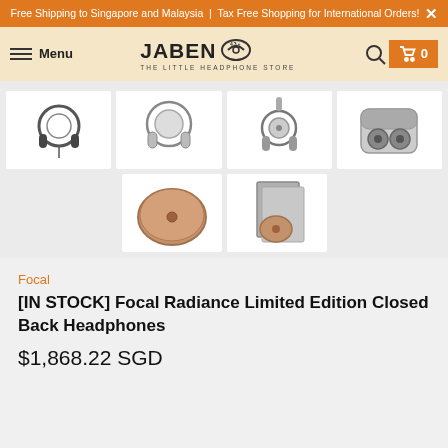Free Shipping to Singapore and Malaysia | Tax Free Shopping for International Orders!
[Figure (screenshot): Jaben store navigation bar with hamburger menu, Jaben logo (THE LITTLE HEADPHONE STORE), search icon, and cart button showing 0 items]
[Figure (photo): Six product images of the Focal Radiance Limited Edition Closed Back Headphones: full headphone view, front angle, side/top view, earbuds in case, carrying case, and product box with case]
Focal
[IN STOCK] Focal Radiance Limited Edition Closed Back Headphones
$1,868.22 SGD